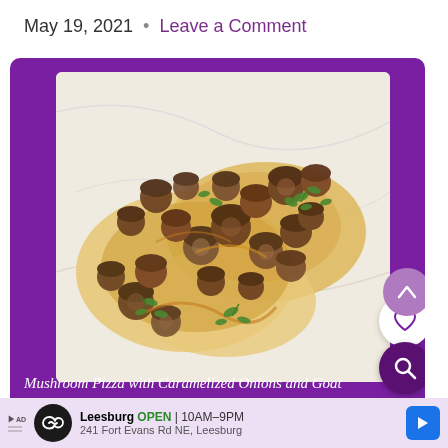May 19, 2021  •  Leave a Comment
[Figure (photo): A mushroom pizza with caramelized onions and goat cheese, topped with fresh herbs, on a white marble surface, shown from above. The pizza is displayed on a purple card background.]
Mushroom Pizza with Caramelized Onions and Goat Cheese is a creamy, cheesy and sweet pizza recipe. This quick and easy d
Leesburg  OPEN  10AM–9PM  241 Fort Evans Rd NE, Leesburg